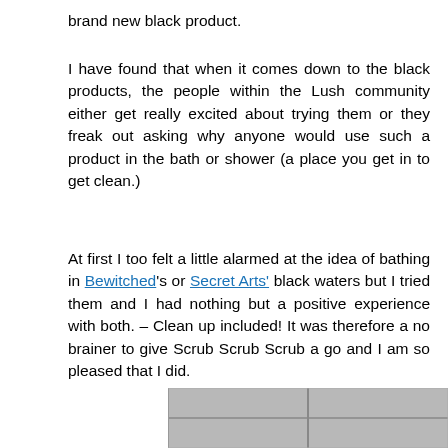brand new black product.
I have found that when it comes down to the black products, the people within the Lush community either get really excited about trying them or they freak out asking why anyone would use such a product in the bath or shower (a place you get in to get clean.)
At first I too felt a little alarmed at the idea of bathing in Bewitched's or Secret Arts' black waters but I tried them and I had nothing but a positive experience with both. – Clean up included! It was therefore a no brainer to give Scrub Scrub Scrub a go and I am so pleased that I did.
[Figure (photo): Partial view of tiled surface, gray tones]